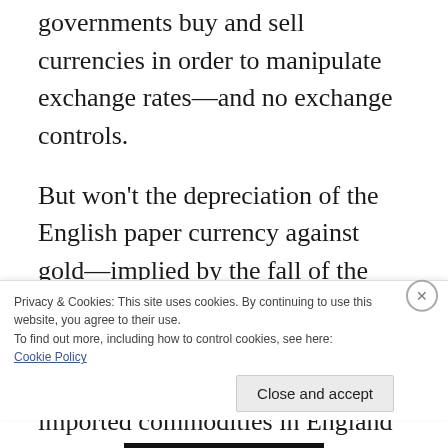governments buy and sell currencies in order to manipulate exchange rates—and no exchange controls.
But won't the depreciation of the English paper currency against gold—implied by the fall of the English paper currency against the Portuguese paper currency—tend to raise the prices of not only imported commodities in England such as Portuguese wine, but also domestically produced commodities such as
Privacy & Cookies: This site uses cookies. By continuing to use this website, you agree to their use.
To find out more, including how to control cookies, see here:
Cookie Policy